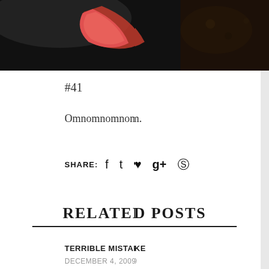[Figure (photo): Partial view of a photo showing a dark background with a red/salmon colored flower or food item, with a handwritten watermark in the lower right corner that reads 'Beverland.com']
#41
Omnomnomnom.
SHARE: [Facebook icon] [Twitter icon] [Pinterest icon] [Google+ icon] [WhatsApp icon]
RELATED POSTS
TERRIBLE MISTAKE
DECEMBER 4, 2009
BALI 2
AUGUST 21, 2012